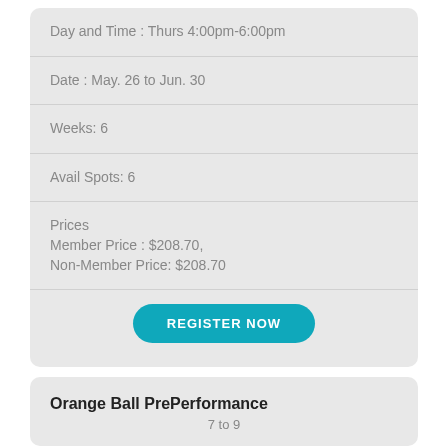Day and Time : Thurs 4:00pm-6:00pm
Date : May. 26 to Jun. 30
Weeks: 6
Avail Spots: 6
Prices
Member Price : $208.70,
Non-Member Price: $208.70
REGISTER NOW
Orange Ball PrePerformance
7 to 9